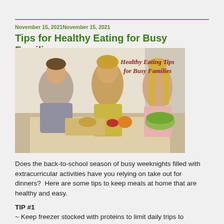November 15, 2021November 15, 2021
Tips for Healthy Eating for Busy Families
[Figure (photo): A mother and two children preparing food at a kitchen counter with vegetables and salad. Text overlay reads: Healthy Eating Tips for Busy Families]
Does the back-to-school season of busy weeknights filled with extracurricular activities have you relying on take out for dinners?  Here are some tips to keep meals at home that are healthy and easy.
TIP #1
~ Keep freezer stocked with proteins to limit daily trips to